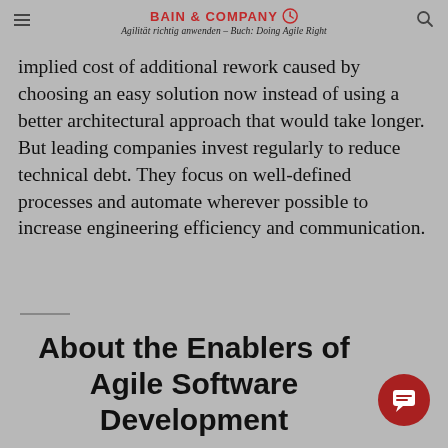BAIN & COMPANY  Agilität richtig anwenden – Buch: Doing Agile Right
implied cost of additional rework caused by choosing an easy solution now instead of using a better architectural approach that would take longer. But leading companies invest regularly to reduce technical debt. They focus on well-defined processes and automate wherever possible to increase engineering efficiency and communication.
About the Enablers of Agile Software Development